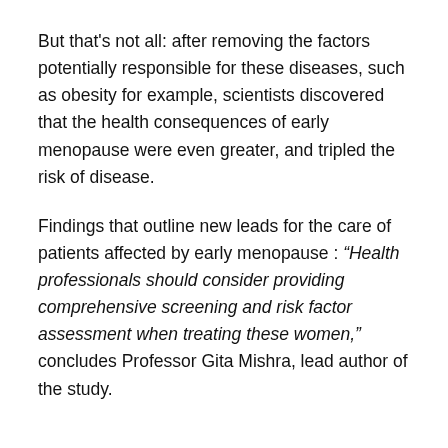But that's not all: after removing the factors potentially responsible for these diseases, such as obesity for example, scientists discovered that the health consequences of early menopause were even greater, and tripled the risk of disease.
Findings that outline new leads for the care of patients affected by early menopause : “Health professionals should consider providing comprehensive screening and risk factor assessment when treating these women,” concludes Professor Gita Mishra, lead author of the study.